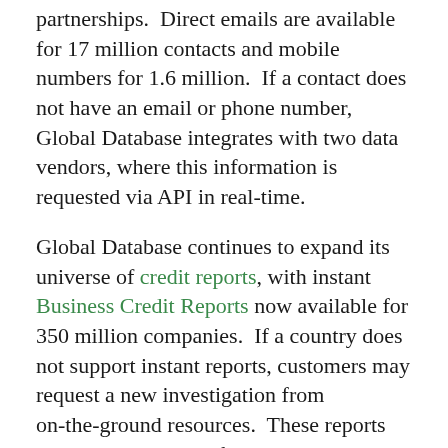partnerships.  Direct emails are available for 17 million contacts and mobile numbers for 1.6 million.  If a contact does not have an email or phone number, Global Database integrates with two data vendors, where this information is requested via API in real-time.
Global Database continues to expand its universe of credit reports, with instant Business Credit Reports now available for 350 million companies.  If a country does not support instant reports, customers may request a new investigation from on-the-ground resources.  These reports are delivered within five to seven business days.
Credit reports are priced between £19 and £80, with the UK and Irish reports at the low